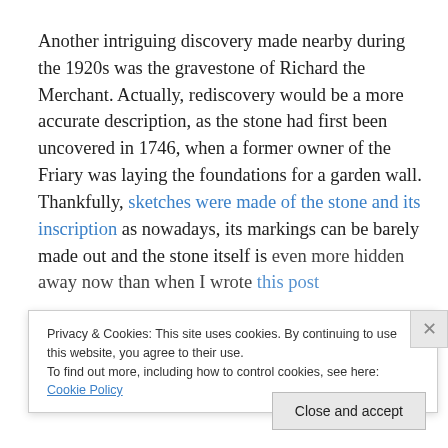Another intriguing discovery made nearby during the 1920s was the gravestone of Richard the Merchant. Actually, rediscovery would be a more accurate description, as the stone had first been uncovered in 1746, when a former owner of the Friary was laying the foundations for a garden wall.  Thankfully, sketches were made of the stone and its inscription as nowadays, its markings can be barely made out and the stone itself is even more hidden away now than when I wrote this post
Privacy & Cookies: This site uses cookies. By continuing to use this website, you agree to their use.
To find out more, including how to control cookies, see here: Cookie Policy
Close and accept